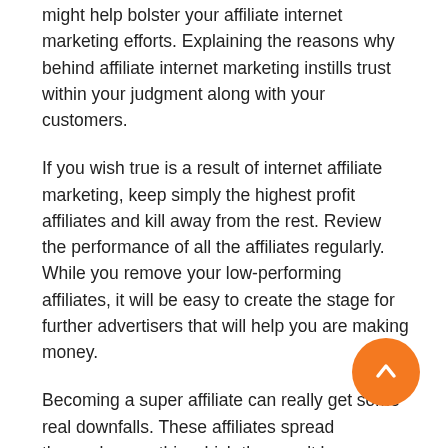might help bolster your affiliate internet marketing efforts. Explaining the reasons why behind affiliate internet marketing instills trust within your judgment along with your customers.
If you wish true is a result of internet affiliate marketing, keep simply the highest profit affiliates and kill away from the rest. Review the performance of all the affiliates regularly. While you remove your low-performing affiliates, it will be easy to create the stage for further advertisers that will help you are making money.
Becoming a super affiliate can really get some real downfalls. These affiliates spread themselves so thin which they can't be competitive with this fast moving world. Remember, you can never truly optimize results. Once you find the approach which fits your life-style, you could make a lot of money in affiliate